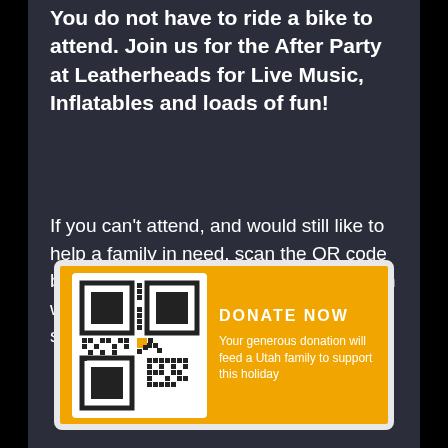You do not have to ride a bike to attend. Join us for the After Party at Leatherheads for Live Music, Inflatables and loads of fun!
If you can't attend,  and would still like to help a family in need, scan the QR code below to donate. Your generous donation will feed a Utah family this Thanksgiving season.
[Figure (other): QR code on an orange/yellow card with 'DONATE NOW' text and description 'Your generous donation will feed a Utah family to support this holiday']